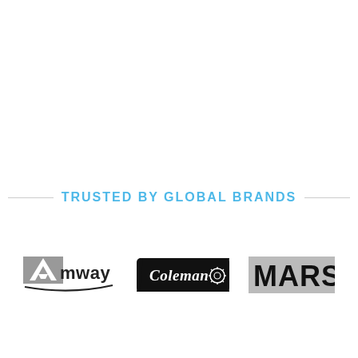TRUSTED BY GLOBAL BRANDS
[Figure (logo): Amway logo in black and grey]
[Figure (logo): Coleman logo in black with white text and gear icon]
[Figure (logo): MARS logo in black bold text]